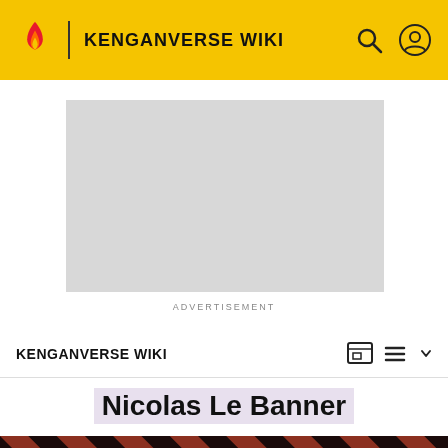KENGANVERSE WIKI
[Figure (screenshot): Grey advertisement placeholder box]
ADVERTISEMENT
KENGANVERSE WIKI
Nicolas Le Banner
[Figure (photo): Hero image with diagonal stripe pattern background (dark red and black stripes) and a figure in the foreground. Text overlay reads: The Sandman Will Keep You Awake...]